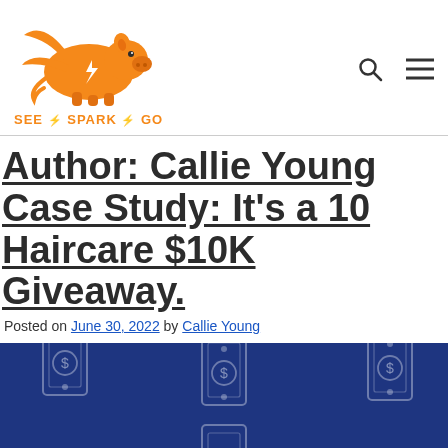[Figure (logo): See Spark Go logo — orange flying pig with lightning bolt and text SEE SPARK GO below]
Author: Callie Young Case Study: It's a 10 Haircare $10K Giveaway.
Posted on June 30, 2022 by Callie Young
[Figure (illustration): Dark blue banner background with illustrated dollar bill icons]